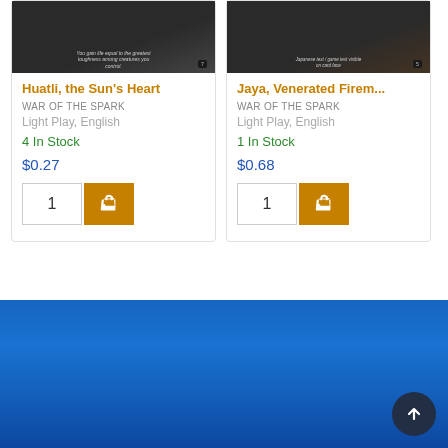[Figure (illustration): Magic: The Gathering card image for Huatli, the Sun's Heart — black card with game text visible]
Huatli, the Sun's Heart
WAR OF THE SPARK
Light Play, English
4 In Stock
$0.27
[Figure (illustration): Magic: The Gathering card image for Jaya, Venerated Firemage — black card with game text visible]
Jaya, Venerated Firem...
WAR OF THE SPARK
Light Play, English
1 In Stock
$0.68
[Figure (illustration): Blue gradient footer background]